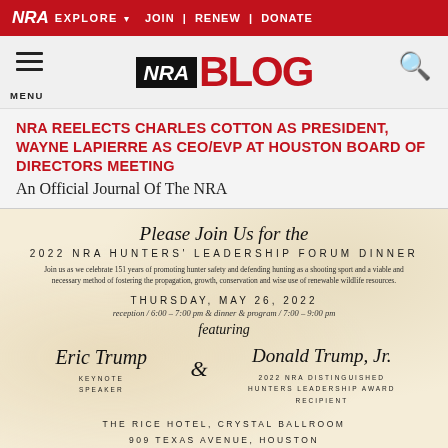NRA EXPLORE ▾ | JOIN | RENEW | DONATE
[Figure (logo): NRA BLOG logo with hamburger menu and search icon]
NRA REELECTS CHARLES COTTON AS PRESIDENT, WAYNE LAPIERRE AS CEO/EVP AT HOUSTON BOARD OF DIRECTORS MEETING
An Official Journal Of The NRA
[Figure (illustration): Formal dinner invitation card for 2022 NRA Hunters' Leadership Forum Dinner on parchment background. Features Eric Trump as Keynote Speaker and Donald Trump, Jr. as 2022 NRA Distinguished Hunters Leadership Award Recipient. Thursday, May 26, 2022. The Rice Hotel, Crystal Ballroom, 909 Texas Avenue, Houston.]